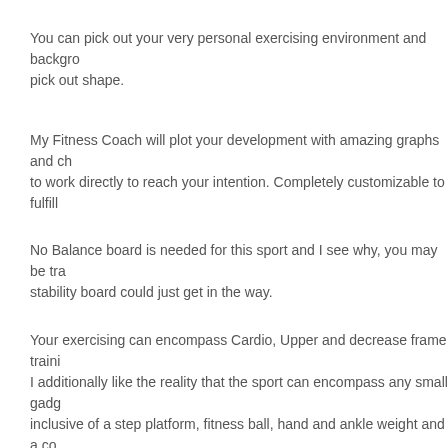You can pick out your very personal exercising environment and background pick out shape.
My Fitness Coach will plot your development with amazing graphs and charts to work directly to reach your intention. Completely customizable to fulfill
No Balance board is needed for this sport and I see why, you may be training stability board could just get in the way.
Your exercising can encompass Cardio, Upper and decrease frame training. I additionally like the reality that the sport can encompass any small gadgets inclusive of a step platform, fitness ball, hand and ankle weight and a cord begin using those exercise equipment you have stored inside the closet!
Filed Under: Business